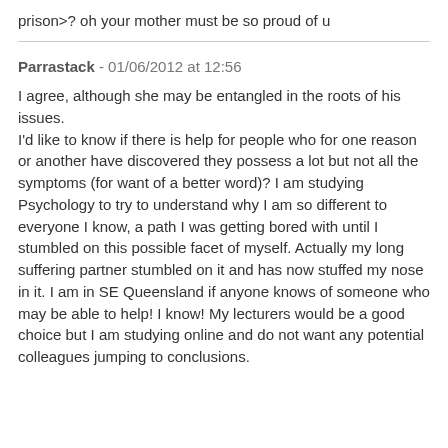prison>? oh your mother must be so proud of u
Parrastack - 01/06/2012 at 12:56
I agree, although she may be entangled in the roots of his issues.
I'd like to know if there is help for people who for one reason or another have discovered they possess a lot but not all the symptoms (for want of a better word)? I am studying Psychology to try to understand why I am so different to everyone I know, a path I was getting bored with until I stumbled on this possible facet of myself. Actually my long suffering partner stumbled on it and has now stuffed my nose in it. I am in SE Queensland if anyone knows of someone who may be able to help! I know! My lecturers would be a good choice but I am studying online and do not want any potential colleagues jumping to conclusions.